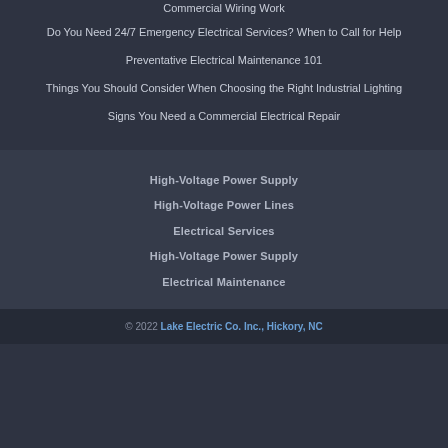Commercial Wiring Work
Do You Need 24/7 Emergency Electrical Services? When to Call for Help
Preventative Electrical Maintenance 101
Things You Should Consider When Choosing the Right Industrial Lighting
Signs You Need a Commercial Electrical Repair
High-Voltage Power Supply
High-Voltage Power Lines
Electrical Services
High-Voltage Power Supply
Electrical Maintenance
© 2022 Lake Electric Co. Inc., Hickory, NC